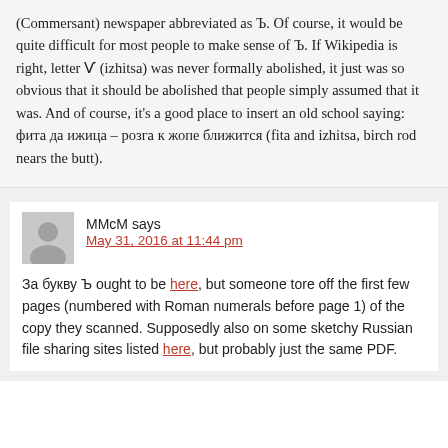(Commersant) newspaper abbreviated as Ъ. Of course, it would be quite difficult for most people to make sense of Ъ. If Wikipedia is right, letter Ѵ (izhitsa) was never formally abolished, it just was so obvious that it should be abolished that people simply assumed that it was. And of course, it's a good place to insert an old school saying: фита да ижица – розга к жопе ближится (fita and izhitsa, birch rod nears the butt).
MMcM says
May 31, 2016 at 11:44 pm
За букву Ъ ought to be here, but someone tore off the first few pages (numbered with Roman numerals before page 1) of the copy they scanned. Supposedly also on some sketchy Russian file sharing sites listed here, but probably just the same PDF.